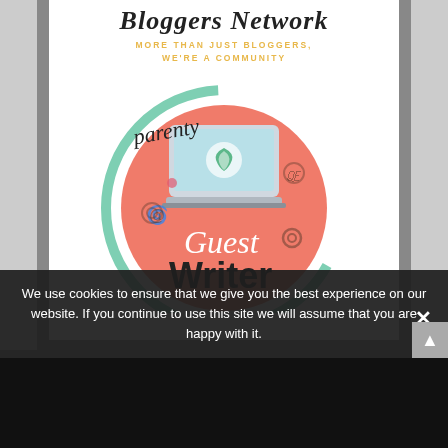Bloggers Network
MORE THAN JUST BLOGGERS, WE'RE A COMMUNITY
[Figure (logo): Parenty Guest Writer badge: a coral/salmon circle with a teal outer ring arc, a laptop showing a green swirl logo, script text 'Guest' and bold text 'Writer', cursive 'parenty' at top left, and 'parentish parents' rotated on the right side, with decorative swirl elements]
We use cookies to ensure that we give you the best experience on our website. If you continue to use this site we will assume that you are happy with it.